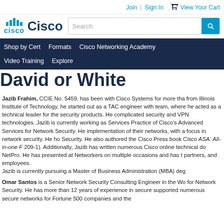Join | Sign In  View Your Cart
[Figure (logo): Cisco logo with blue bar graph symbol and 'Cisco' text in teal, followed by 'Cisco' in dark navy bold, and a search box]
Shop by Cert  Formats  Cisco Networking Academy  Video Training  Explore
David or White
Jazib Frahim, CCIE No. 5459, has been with Cisco Systems for more than... from Illinois Institute of Technology, he started out as a TAC engineer with... team, where he acted as a technical leader for the security products. He... complicated security and VPN technologies. Jazib is currently working as... Services Practice of Cisco's Advanced Services for Network Security. He... implementation of their networks, with a focus in network security. He ho... Security. He also authored the Cisco Press book Cisco ASA: All-in-one F... 209-1). Additionally, Jazib has written numerous Cisco online technical do... NetPro. He has presented at Networkers on multiple occasions and has t... partners, and employees.
Jazib is currently pursuing a Master of Business Administration (MBA) deg...
Omar Santos is a Senior Network Security Consulting Engineer in the Wo... for Network Security. He has more than 12 years of experience in secure... supported numerous secure networks for Fortune 500 companies and the...